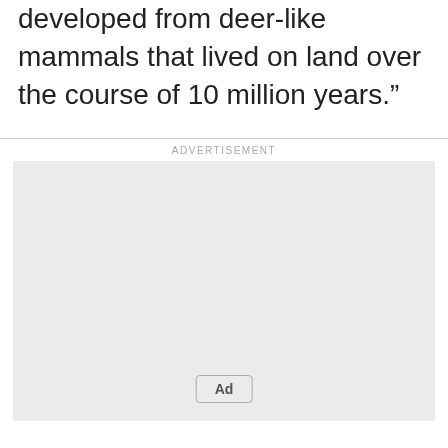developed from deer-like mammals that lived on land over the course of 10 million years.”
[Figure (other): Advertisement placeholder box with 'Ad' button label and 'ADVERTISEMENT' header text]